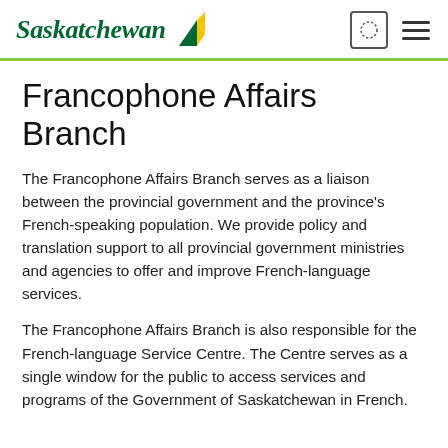Saskatchewan [logo]
Francophone Affairs Branch
The Francophone Affairs Branch serves as a liaison between the provincial government and the province's French-speaking population. We provide policy and translation support to all provincial government ministries and agencies to offer and improve French-language services.
The Francophone Affairs Branch is also responsible for the French-language Service Centre. The Centre serves as a single window for the public to access services and programs of the Government of Saskatchewan in French.